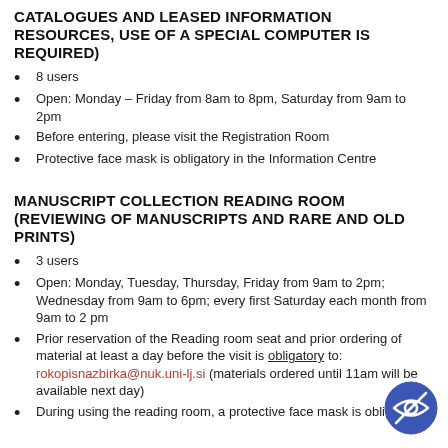CATALOGUES AND LEASED INFORMATION RESOURCES, USE OF A SPECIAL COMPUTER IS REQUIRED)
8 users
Open: Monday – Friday from 8am to 8pm, Saturday from 9am to 2pm
Before entering, please visit the Registration Room
Protective face mask is obligatory in the Information Centre
MANUSCRIPT COLLECTION READING ROOM (REVIEWING OF MANUSCRIPTS AND RARE AND OLD PRINTS)
3 users
Open: Monday, Tuesday, Thursday, Friday from 9am to 2pm; Wednesday from 9am to 6pm; every first Saturday each month from 9am to 2 pm
Prior reservation of the Reading room seat and prior ordering of material at least a day before the visit is obligatory to: rokopisnazbirka@nuk.uni-lj.si (materials ordered until 11am will be available next day)
During using the reading room, a protective face mask is obligatory